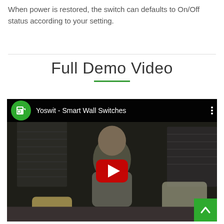When power is restored, the switch can defaults to On/Off status according to your setting.
Full Demo Video
[Figure (screenshot): YouTube video embed showing 'Yoswit - Smart Wall Switches' with a man sitting on a couch, green channel icon, and red play button in the center.]